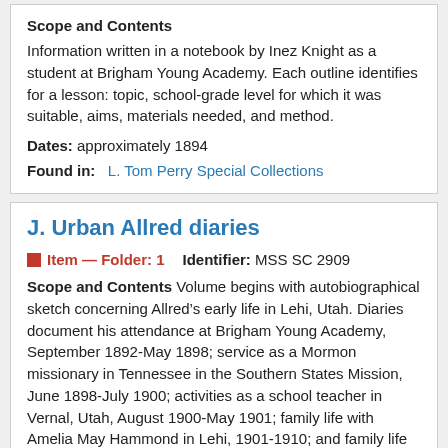Scope and Contents
Information written in a notebook by Inez Knight as a student at Brigham Young Academy. Each outline identifies for a lesson: topic, school-grade level for which it was suitable, aims, materials needed, and method.
Dates: approximately 1894
Found in:  L. Tom Perry Special Collections
J. Urban Allred diaries
Item — Folder: 1    Identifier: MSS SC 2909
Scope and Contents
Volume begins with autobiographical sketch concerning Allred's early life in Lehi, Utah. Diaries document his attendance at Brigham Young Academy, September 1892-May 1898; service as a Mormon missionary in Tennessee in the Southern States Mission, June 1898-July 1900; activities as a school teacher in Vernal, Utah, August 1900-May 1901; family life with Amelia May Hammond in Lehi, 1901-1910; and family life with